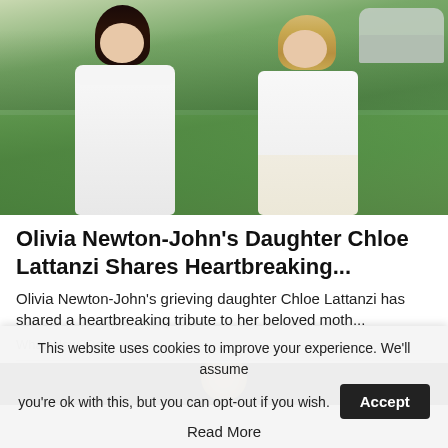[Figure (photo): Two women posing outdoors on a green hillside. Left woman wears a white off-shoulder dress, right woman wears a white shirt with cream pleated skirt. A car is visible in the upper right background.]
Olivia Newton-John's Daughter Chloe Lattanzi Shares Heartbreaking...
Olivia Newton-John's grieving daughter Chloe Lattanzi has shared a heartbreaking tribute to her beloved moth...
WhatsNew2Day
[Figure (photo): Dark background with partial circular object visible, appears to be start of another article image.]
This website uses cookies to improve your experience. We'll assume you're ok with this, but you can opt-out if you wish.
Accept
Read More